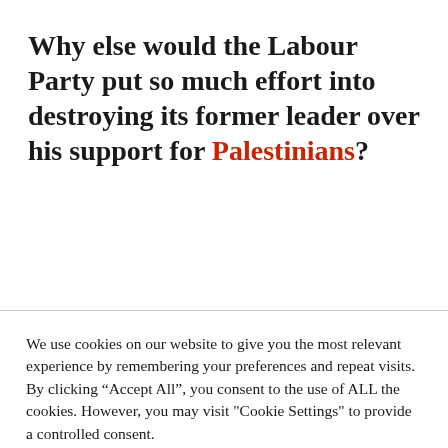Why else would the Labour Party put so much effort into destroying its former leader over his support for Palestinians?
We use cookies on our website to give you the most relevant experience by remembering your preferences and repeat visits. By clicking “Accept All”, you consent to the use of ALL the cookies. However, you may visit "Cookie Settings" to provide a controlled consent.